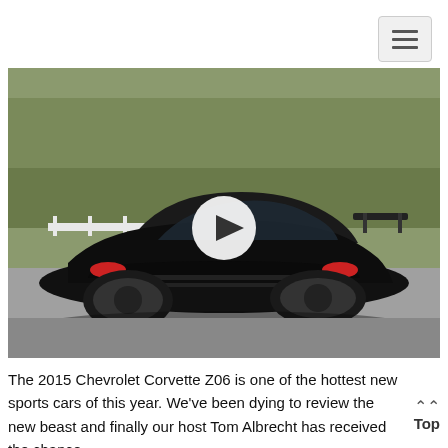[Figure (screenshot): Hamburger menu button (three horizontal lines) in top-right corner]
[Figure (photo): Black 2015 Chevrolet Corvette Z06 sports car photographed outdoors on a road with trees in the background, with a circular play button overlay in the center]
The 2015 Chevrolet Corvette Z06 is one of the hottest new sports cars of this year. We've been dying to review the new beast and finally our host Tom Albrecht has received the chance